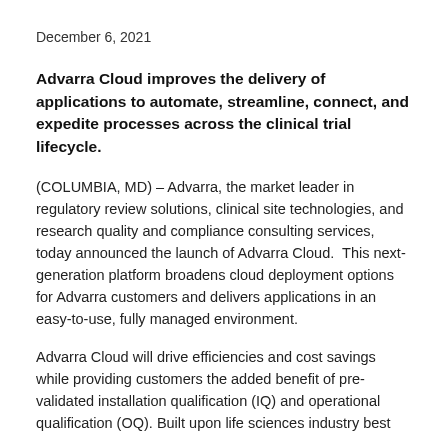December 6, 2021
Advarra Cloud improves the delivery of applications to automate, streamline, connect, and expedite processes across the clinical trial lifecycle.
(COLUMBIA, MD) – Advarra, the market leader in regulatory review solutions, clinical site technologies, and research quality and compliance consulting services, today announced the launch of Advarra Cloud.  This next-generation platform broadens cloud deployment options for Advarra customers and delivers applications in an easy-to-use, fully managed environment.
Advarra Cloud will drive efficiencies and cost savings while providing customers the added benefit of pre-validated installation qualification (IQ) and operational qualification (OQ). Built upon life sciences industry best